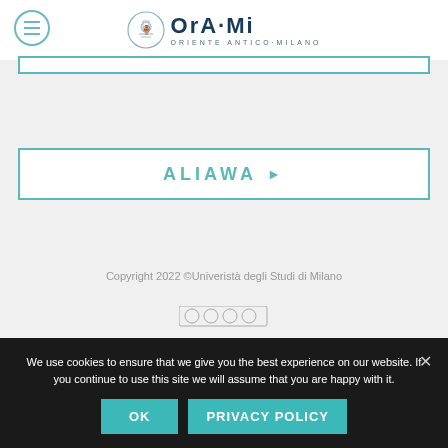[Figure (logo): OrAMi - Oriente Antico Milano logo with circular emblem and text]
ALIAWA ▶
Copyright 2022 ©Univeristà degli Studi di Milano
We use cookies to ensure that we give you the best experience on our website. If you continue to use this site we will assume that you are happy with it.